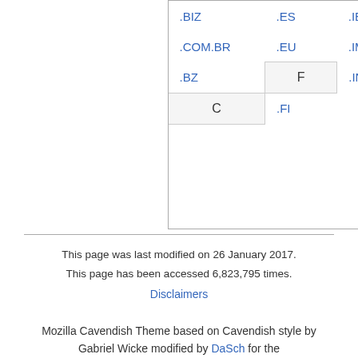| .BIZ | .ES | .IE | .LU | .NU | .RO | .TRAVEL | Z |
| .COM.BR | .EU | .IM | .LV | .CO.NZ | .RU | .TV | .CO... |
| .BZ | F | .IN | M | .NZ | S | .TW | Cent... |
| C | .FI |  |  |  |  |  |  |
This page was last modified on 26 January 2017. This page has been accessed 6,823,795 times.
Disclaimers
Mozilla Cavendish Theme based on Cavendish style by Gabriel Wicke modified by DaSch for the Web Community Wiki
github Projectpage – Report Bug – Skin-Version: 1.6.4